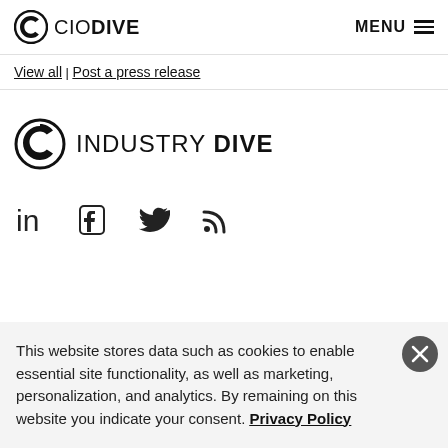CIO DIVE | MENU
View all | Post a press release
[Figure (logo): Industry Dive logo with circular D icon and text INDUSTRY DIVE]
[Figure (infographic): Social media icons: LinkedIn, Facebook, Twitter, RSS]
This website stores data such as cookies to enable essential site functionality, as well as marketing, personalization, and analytics. By remaining on this website you indicate your consent. Privacy Policy